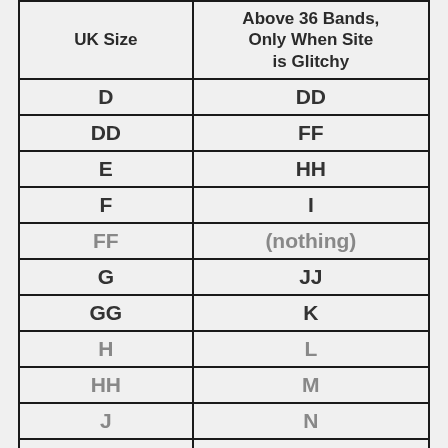| UK Size | Above 36 Bands, Only When Site is Glitchy |
| --- | --- |
| D | DD |
| DD | FF |
| E | HH |
| F | I |
| FF | (nothing) |
| G | JJ |
| GG | K |
| H | L |
| HH | M |
| J | N |
| JJ | O |
| K | P |